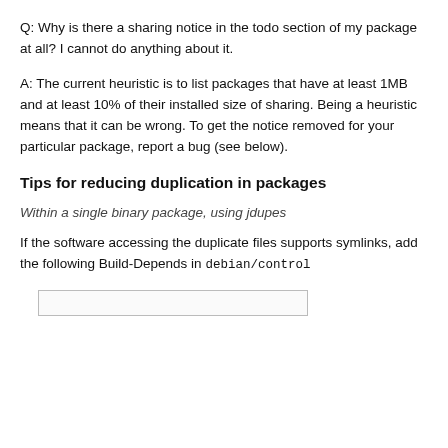Q: Why is there a sharing notice in the todo section of my package at all? I cannot do anything about it.
A: The current heuristic is to list packages that have at least 1MB and at least 10% of their installed size of sharing. Being a heuristic means that it can be wrong. To get the notice removed for your particular package, report a bug (see below).
Tips for reducing duplication in packages
Within a single binary package, using jdupes
If the software accessing the duplicate files supports symlinks, add the following Build-Depends in debian/control